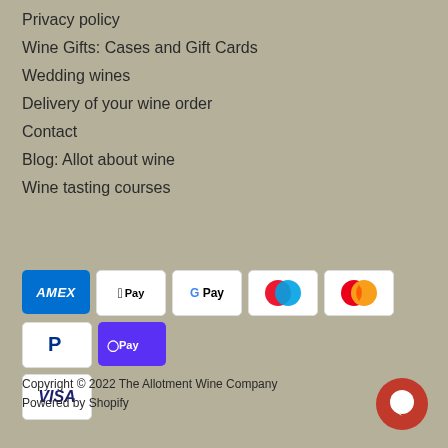Privacy policy
Wine Gifts: Cases and Gift Cards
Wedding wines
Delivery of your wine order
Contact
Blog: Allot about wine
Wine tasting courses
[Figure (other): Payment method badges: American Express, Apple Pay, Google Pay, Maestro, Mastercard, PayPal, Shop Pay, Visa]
Copyright © 2022 The Allotment Wine Company
Powered by Shopify